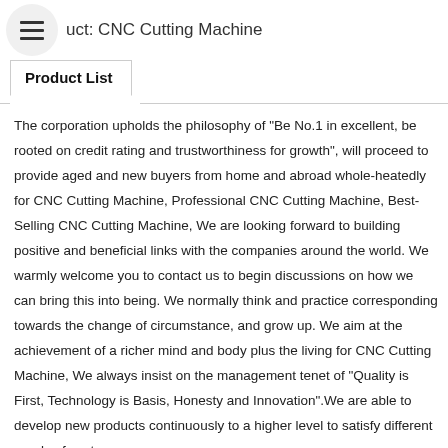Product: CNC Cutting Machine
Product List
The corporation upholds the philosophy of "Be No.1 in excellent, be rooted on credit rating and trustworthiness for growth", will proceed to provide aged and new buyers from home and abroad whole-heatedly for CNC Cutting Machine, Professional CNC Cutting Machine, Best-Selling CNC Cutting Machine, We are looking forward to building positive and beneficial links with the companies around the world. We warmly welcome you to contact us to begin discussions on how we can bring this into being. We normally think and practice corresponding towards the change of circumstance, and grow up. We aim at the achievement of a richer mind and body plus the living for CNC Cutting Machine, We always insist on the management tenet of "Quality is First, Technology is Basis, Honesty and Innovation".We are able to develop new products continuously to a higher level to satisfy different needs of customers.